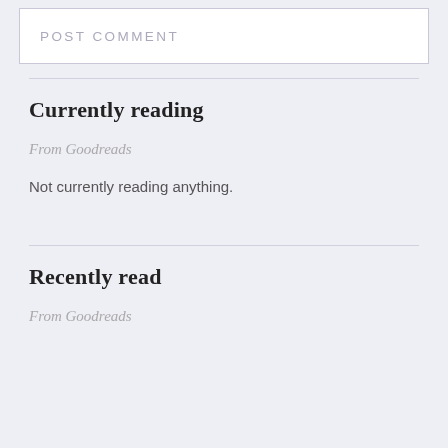POST COMMENT
Currently reading
From Goodreads
Not currently reading anything.
Recently read
From Goodreads